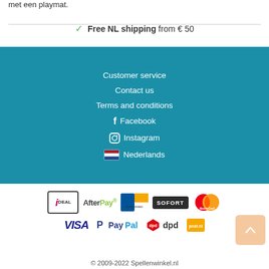met een playmat.
✓ Free NL shipping from € 50
Customer service
Contact us
Terms and conditions
Facebook
Instagram
Nederlands
[Figure (logo): Payment method logos: iDEAL, AfterPay, Bancontact, SOFORT, MasterCard, VISA, PayPal, dpd, PostNL]
© 2009-2022 Spellenwinkel.nl